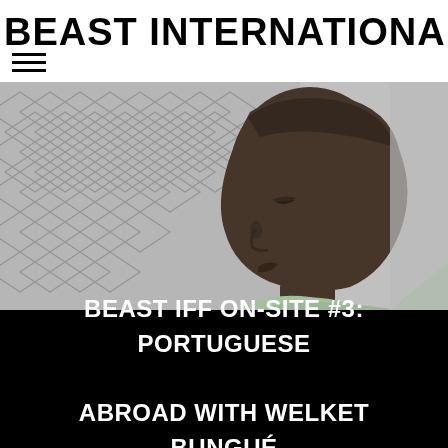BEAST INTERNATIONAL FILM FI
[Figure (photo): Black and white/desaturated photo of a young Black boy in profile, wearing a light green shirt, standing in front of a chain-link fence. The boy is looking to the right. The background shows a blurred fence and wall.]
BEAST IFF ON-SITE #3: PORTUGUESE ABROAD WITH WELKET BUNGUÉ